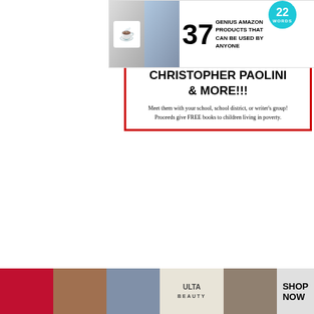[Figure (screenshot): Top advertisement banner: '37 GENIUS AMAZON PRODUCTS THAT CAN BE USED BY ANYONE' with teal 22 WORDS badge and two photos]
[Figure (screenshot): Red-bordered book fair advertisement box showing 'MAX BRAILLER CHRISTOPHER PAOLINI & MORE!!!' with tagline about school visits and free books for children in poverty]
Property and land auctions are a great way to bag a bargain, as this is one of the strategies that people take when they are looking for a quick sale.
Begin by looking for auction houses that sell land in the area you are looking in, and then get yourself onto their mailing list so that you
[Figure (screenshot): Black video overlay covering right portion of article text]
[Figure (screenshot): Bottom ULTA beauty advertisement strip with makeup images and SHOP NOW button]